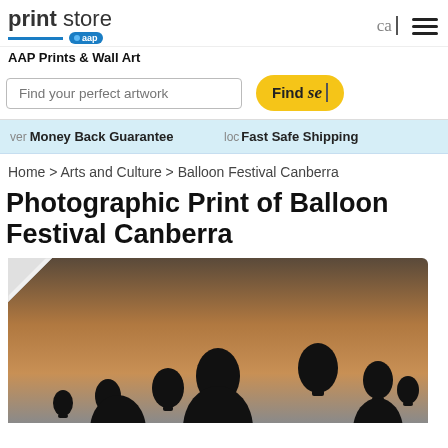print store aap
AAP Prints & Wall Art
Find your perfect artwork
Find sea
ver Money Back Guarantee   loc Fast Safe Shipping
Home > Arts and Culture > Balloon Festival Canberra
Photographic Print of Balloon Festival Canberra
[Figure (photo): Silhouettes of hot air balloons against a warm brown and grey gradient sky at dusk]